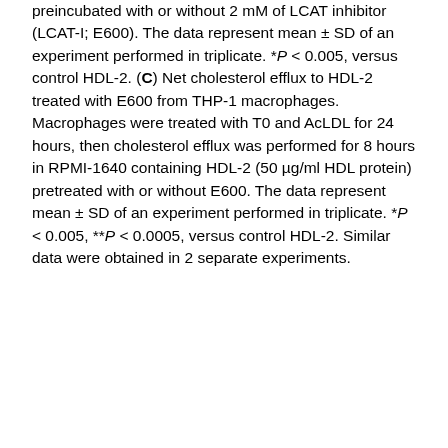preincubated with or without 2 mM of LCAT inhibitor (LCAT-I; E600). The data represent mean ± SD of an experiment performed in triplicate. *P < 0.005, versus control HDL-2. (C) Net cholesterol efflux to HDL-2 treated with E600 from THP-1 macrophages. Macrophages were treated with T0 and AcLDL for 24 hours, then cholesterol efflux was performed for 8 hours in RPMI-1640 containing HDL-2 (50 µg/ml HDL protein) pretreated with or without E600. The data represent mean ± SD of an experiment performed in triplicate. *P < 0.005, **P < 0.0005, versus control HDL-2. Similar data were obtained in 2 separate experiments.